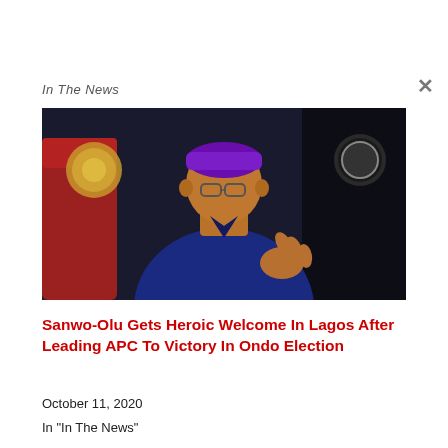In The News
[Figure (photo): A man in a dark blue traditional Nigerian outfit and glasses, wearing a purple cap and gold watch, seated and gesturing. A red chair is visible on the left, a gold emblem/seal on the top left background, and a dark clock on the right background.]
Sanwo-Olu Gets Heroic Welcome In Lagos After Leading APC To Victory In Ondo Election
October 11, 2020
In "In The News"